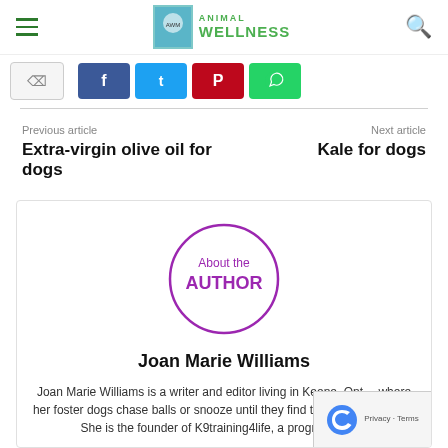Animal Wellness
[Figure (screenshot): Social share buttons: count, Facebook, Twitter, Pinterest, WhatsApp]
Previous article
Extra-virgin olive oil for dogs
Next article
Kale for dogs
[Figure (illustration): About the Author badge - circular purple border with text 'About the AUTHOR']
Joan Marie Williams
Joan Marie Williams is a writer and editor living in Keene, Ont... where her foster dogs chase balls or snooze until they find th... forever homes. She is the founder of K9training4life, a program that...